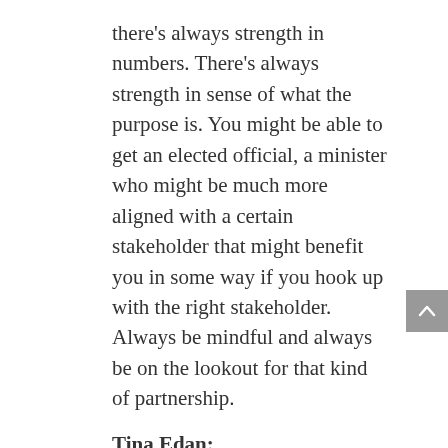there's always strength in numbers. There's always strength in sense of what the purpose is. You might be able to get an elected official, a minister who might be much more aligned with a certain stakeholder that might benefit you in some way if you hook up with the right stakeholder. Always be mindful and always be on the lookout for that kind of partnership.
Tina Edan:
Another question from the audience. Not all voices are equally represented by our sector. For instance, the developmental service sector is in crisis, but we often don't hear about this. How have you made sure that the experiences of those communities who don't use standard